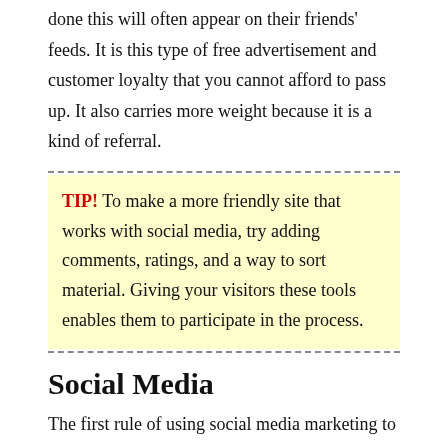done this will often appear on their friends' feeds. It is this type of free advertisement and customer loyalty that you cannot afford to pass up. It also carries more weight because it is a kind of referral.
TIP! To make a more friendly site that works with social media, try adding comments, ratings, and a way to sort material. Giving your visitors these tools enables them to participate in the process.
Social Media
The first rule of using social media marketing to promote a business is post, post, and post some more. You need to be seen if you want anyone to follow your profile. If you are not attentive and willing to interact, you will not be able to sustain an interesting or winning social media initiative. Being active can spark the interest of your followers and help you be more successful.